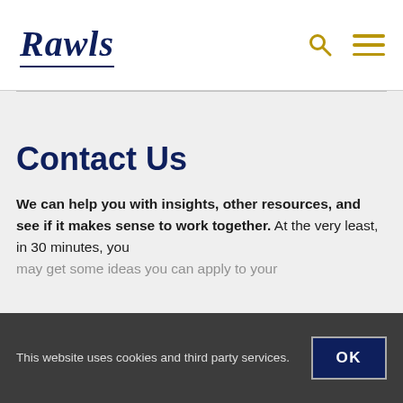Rawls
Contact Us
We can help you with insights, other resources, and see if it makes sense to work together. At the very least, in 30 minutes, you may get some ideas you can apply to your
This website uses cookies and third party services.